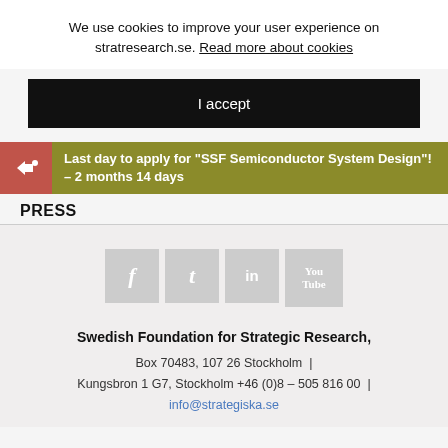We use cookies to improve your user experience on stratresearch.se. Read more about cookies
I accept
Last day to apply for "SSF Semiconductor System Design"! – 2 months 14 days
PRESS
[Figure (illustration): Social media icons: Facebook (f), Twitter/Tumblr (t), LinkedIn (in), YouTube (You Tube) — four grey square icon buttons in a row]
Swedish Foundation for Strategic Research,
Box 70483, 107 26 Stockholm  |  Kungsbron 1 G7, Stockholm +46 (0)8 – 505 816 00  |  info@strategiska.se